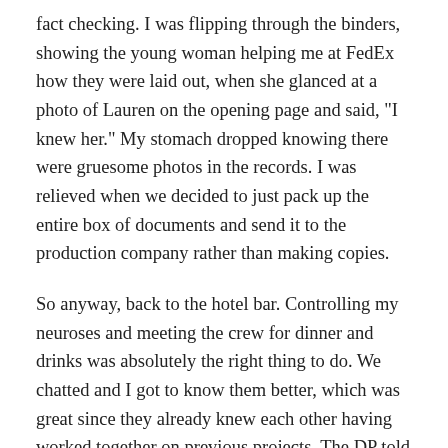fact checking. I was flipping through the binders, showing the young woman helping me at FedEx how they were laid out, when she glanced at a photo of Lauren on the opening page and said, "I knew her." My stomach dropped knowing there were gruesome photos in the records. I was relieved when we decided to just pack up the entire box of documents and send it to the production company rather than making copies.
So anyway, back to the hotel bar. Controlling my neuroses and meeting the crew for dinner and drinks was absolutely the right thing to do. We chatted and I got to know them better, which was great since they already knew each other having worked together on previous projects. The DP told me about his daughter who's between Biggie's and Smalls's ages, and we discussed the difficulty of juggling career and parenthood, especially in a field like production where you can be away from family for weeks, if not months, at a time. The crew